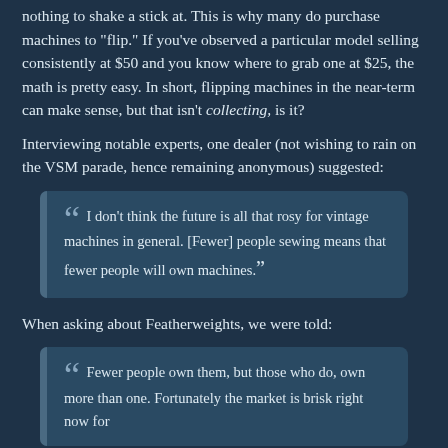nothing to shake a stick at. This is why many do purchase machines to "flip." If you've observed a particular model selling consistently at $50 and you know where to grab one at $25, the math is pretty easy. In short, flipping machines in the near-term can make sense, but that isn't collecting, is it?
Interviewing notable experts, one dealer (not wishing to rain on the VSM parade, hence remaining anonymous) suggested:
“ I don't think the future is all that rosy for vintage machines in general. [Fewer] people sewing means that fewer people will own machines.”
When asking about Featherweights, we were told:
“ Fewer people own them, but those who do, own more than one. Fortunately the market is brisk right now for